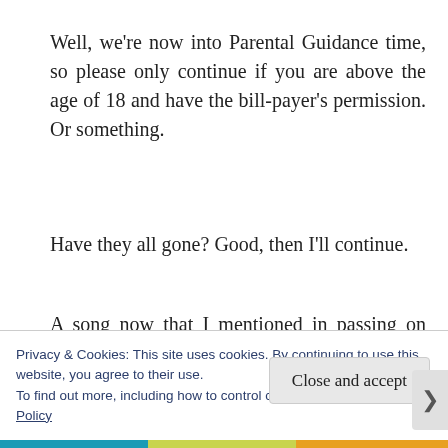Well, we're now into Parental Guidance time, so please only continue if you are above the age of 18 and have the bill-payer's permission. Or something.
Have they all gone? Good, then I'll continue.
A song now that I mentioned in passing on these pages some time ago:
Privacy & Cookies: This site uses cookies. By continuing to use this website, you agree to their use.
To find out more, including how to control cookies, see here: Cookie Policy
Close and accept